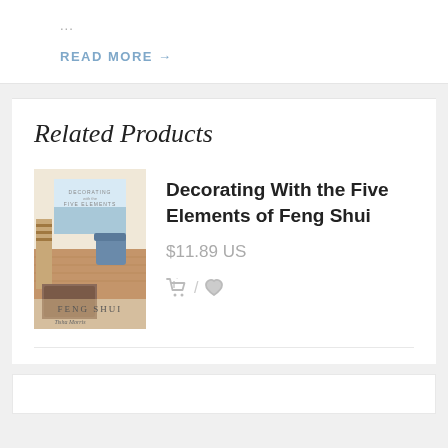...
READ MORE →
Related Products
[Figure (illustration): Book cover for 'Decorating With the Five Elements of Feng Shui' by Tisha Morris, showing interior room with ocean view]
Decorating With the Five Elements of Feng Shui
$11.89 US
🛒 / ♥